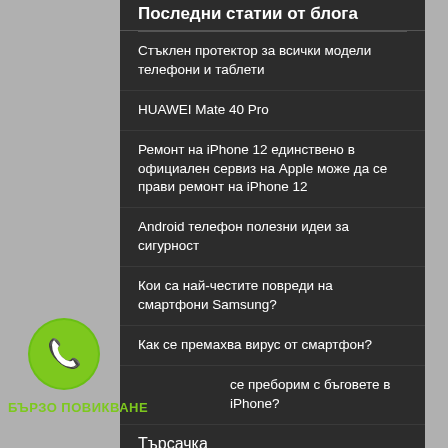Последни статии от блога
Стъклен протектор за всички модели телефони и таблети
HUAWEI Mate 40 Pro
Ремонт на iPhone 12 единствено в официален сервиз на Apple може да се прави ремонт на iPhone 12
Android телефон полезни идеи за сигурност
Кои са най-честите повреди на смартфони Samsung?
Как се премахва вирус от смартфон?
Как се преборим с бъговете в iPhone?
[Figure (illustration): Green circular phone call button icon with white telephone handset symbol]
БЪРЗО ПОВИКВАНЕ
Търсачка